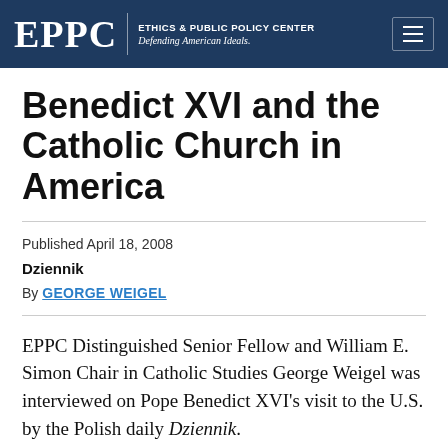EPPC | ETHICS & PUBLIC POLICY CENTER Defending American Ideals.
Benedict XVI and the Catholic Church in America
Published April 18, 2008
Dziennik
By GEORGE WEIGEL
EPPC Distinguished Senior Fellow and William E. Simon Chair in Catholic Studies George Weigel was interviewed on Pope Benedict XVI’s visit to the U.S. by the Polish daily Dziennik.